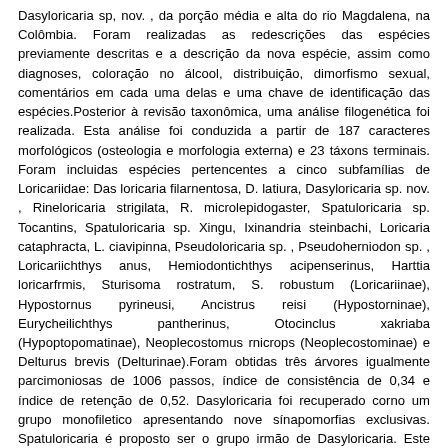Dasyloricaria sp, nov. , da porção média e alta do rio Magdalena, na Colômbia. Foram realizadas as redescrições das espécies previamente descritas e a descrição da nova espécie, assim como diagnoses, coloração no álcool, distribuição, dimorfismo sexual, comentários em cada uma delas e uma chave de identificação das espécies.Posterior à revisão taxonômica, uma análise filogenética foi realizada. Esta análise foi conduzida a partir de 187 caracteres morfológicos (osteologia e morfologia externa) e 23 táxons terminais. Foram incluidas espécies pertencentes a cinco subfamílias de Loricariidae: Das loricaria filarnentosa, D. latiura, Dasyloricaria sp. nov. , Rineloricaria strigilata, R. microlepidogaster, Spatuloricaria sp. Tocantins, Spatuloricaria sp. Xingu, Ixinandria steinbachi, Loricaria cataphracta, L. ciavipinna, Pseudoloricaria sp. , Pseudoherniodon sp. , Loricariichthys anus, Hemiodontichthys acipenserinus, Harttia loricarfrmis, Sturisoma rostratum, S. robustum (Loricariinae), Hypostornus pyrineusi, Ancistrus reisi (Hypostorninae), Eurycheilichthys pantherinus, Otocinclus xakriaba (Hypoptopomatinae), Neoplecostomus rnicrops (Neoplecostominae) e Delturus brevis (Delturinae).Foram obtidas três árvores igualmente parcimoniosas de 1006 passos, índice de consistência de 0,34 e índice de retenção de 0,52. Dasyloricaria foi recuperado corno um grupo monofiletico apresentando nove sínapomorfias exclusivas. Spatuloricaria é proposto ser o grupo irmão de Dasyloricaria. Este dado é suportado por três smapomorfias exclusivas, e é observado ser o agrupamento mais derivado dentro da análise. Rineloricarina sensu Isbrücker não foi recuperado como